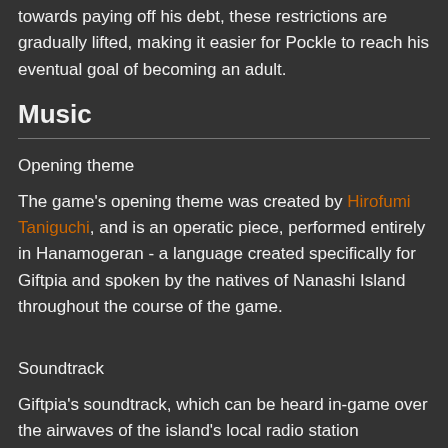towards paying off his debt, these restrictions are gradually lifted, making it easier for Pockle to reach his eventual goal of becoming an adult.
Music
Opening theme
The game's opening theme was created by Hirofumi Taniguchi, and is an operatic piece, performed entirely in Hanamogeran - a language created specifically for Giftpia and spoken by the natives of Nanashi Island throughout the course of the game.
Soundtrack
Giftpia's soundtrack, which can be heard in-game over the airwaves of the island's local radio station "Nanashi-FM",